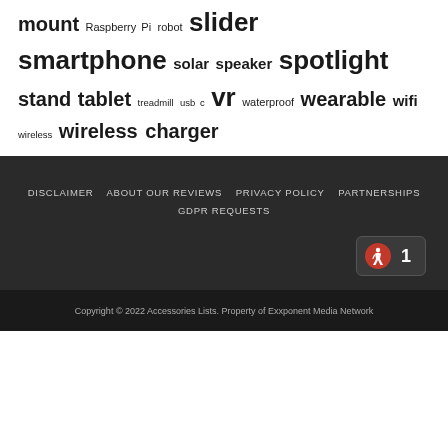mount Raspberry Pi robot slider smartphone solar speaker spotlight stand tablet treadmill usb c vr waterproof wearable wifi wireless wireless charger
DISCLAIMER   ABOUT OUR REVIEWS   PRIVACY POLICY   PARTNERSHIPS   GDPR REQUESTS
[Figure (other): Accessibility widget showing a walking person icon in a red circle and the number 1, displayed in a dark rounded rectangle button]
Copyright © 2022 Accessories Lists. Property of Exxponent Media Network